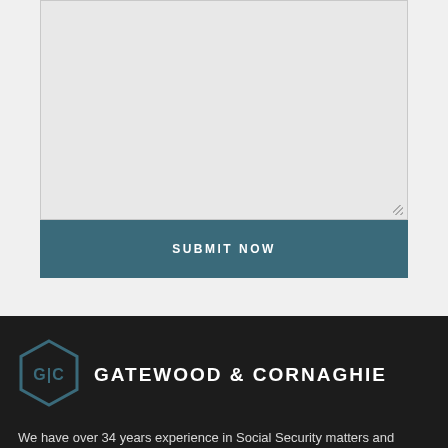[Figure (screenshot): Gray form textarea input field with resize handle in lower right corner]
SUBMIT NOW
[Figure (logo): Gatewood & Cornaghie hexagon logo with G|C initials]
GATEWOOD & CORNAGHIE
We have over 34 years experience in Social Security matters and representing hard working individuals in the Mid-South, including Tennessee, Mississippi, A...